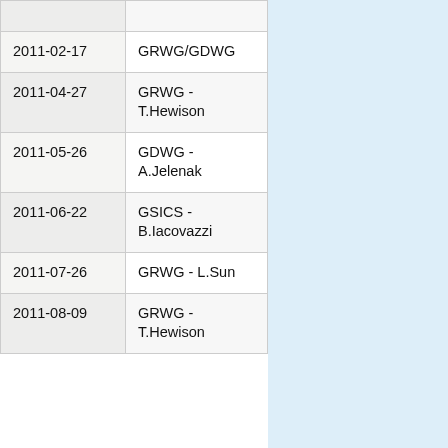| Date | Group/Author |
| --- | --- |
|  |  |
| 2011-02-17 | GRWG/GDWG |
| 2011-04-27 | GRWG - T.Hewison |
| 2011-05-26 | GDWG - A.Jelenak |
| 2011-06-22 | GSICS - B.Iacovazzi |
| 2011-07-26 | GRWG - L.Sun |
| 2011-08-09 | GRWG - T.Hewison |